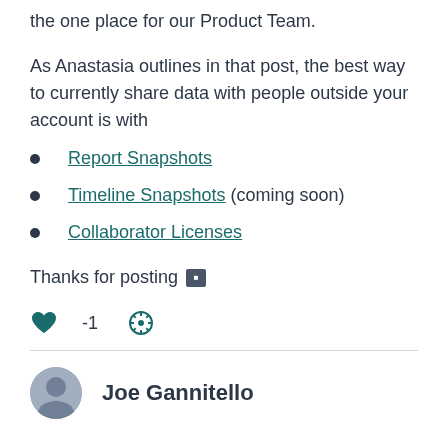the one place for our Product Team.
As Anastasia outlines in that post, the best way to currently share data with people outside your account is with
Report Snapshots
Timeline Snapshots (coming soon)
Collaborator Licenses
Thanks for posting 🏢
♥ -1  ⚙
Joe Gannitello